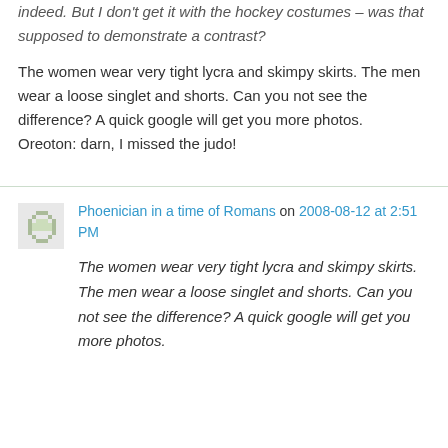indeed. But I don't get it with the hockey costumes – was that supposed to demonstrate a contrast?
The women wear very tight lycra and skimpy skirts. The men wear a loose singlet and shorts. Can you not see the difference? A quick google will get you more photos.
Oreoton: darn, I missed the judo!
Phoenician in a time of Romans on 2008-08-12 at 2:51 PM
The women wear very tight lycra and skimpy skirts. The men wear a loose singlet and shorts. Can you not see the difference? A quick google will get you more photos.